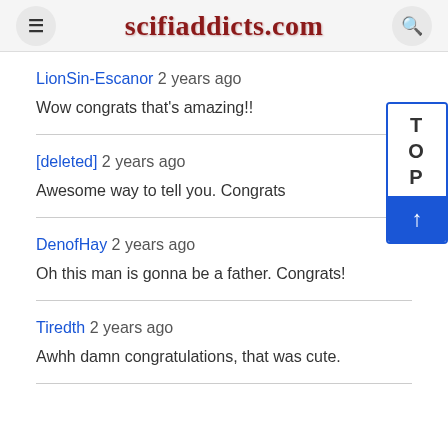scifiaddicts.com
LionSin-Escanor 2 years ago
Wow congrats that's amazing!!
[deleted] 2 years ago
Awesome way to tell you. Congrats
DenofHay 2 years ago
Oh this man is gonna be a father. Congrats!
Tiredth 2 years ago
Awhh damn congratulations, that was cute.